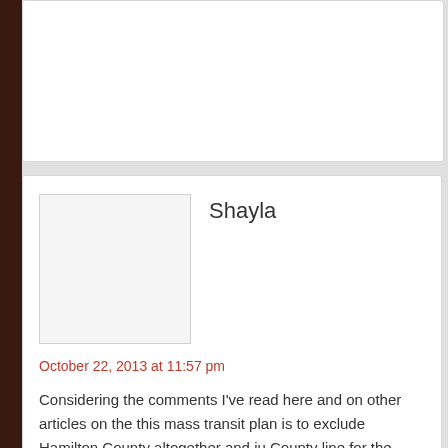Shayla
October 22, 2013 at 11:57 pm
Considering the comments I've read here and on other articles on the this mass transit plan is to exclude Hamilton County altogether and ju County line for the green line as what is proposed with the red line an Hamilton County on board may be futile at this point. The most potent development is in Marion County anyway. Build up the system in Mari Fishers and Carmel express bus and let Hamilton County conduct the future. With that, it still appears more TOD will occur along a rail line i the rail line" typically means area within 1/4 mile of the line.